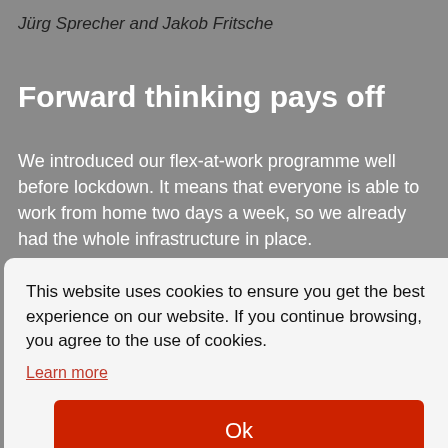Jürg Sprecher and Jakob Fritsche
Forward thinking pays off
We introduced our flex-at-work programme well before lockdown. It means that everyone is able to work from home two days a week, so we already had the whole infrastructure in place.
This website uses cookies to ensure you get the best experience on our website. If you continue browsing, you agree to the use of cookies.
Learn more
[Figure (screenshot): Red Ok button in a cookie consent modal dialog]